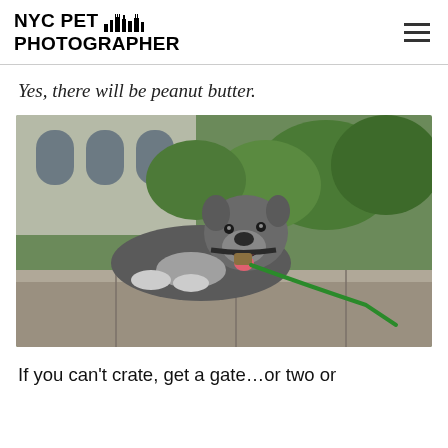NYC PET PHOTOGRAPHER
Yes, there will be peanut butter.
[Figure (photo): A grey and white pit bull dog lying on a stone ledge with a green leash, smiling at the camera, with green trees and a building in the background.]
If you can’t crate, get a gate…or two or